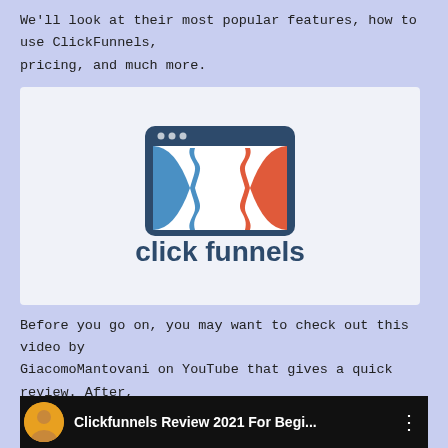We'll look at their most popular features, how to use ClickFunnels, pricing, and much more.
[Figure (logo): ClickFunnels logo: a browser window icon with blue and red interlocking funnel shapes, and the text 'click funnels' in dark blue below it, on a light gray background.]
Before you go on, you may want to check out this video by GiacomoMantovani on YouTube that gives a quick review. After, you'll want to read the rest of our article for a more comprehensive review of ClickFunnels.
[Figure (screenshot): YouTube video thumbnail bar showing a circular avatar photo of a man, title text 'Clickfunnels Review 2021 For Begi...' and a three-dot menu icon, on a dark/black background.]